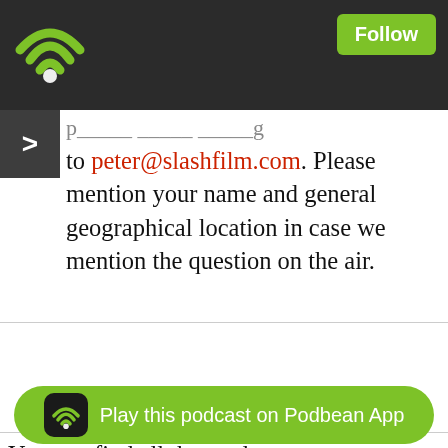[Figure (screenshot): Dark top navigation bar of a podcast app with a green WiFi/podcast icon on the left and a green Follow button on the right.]
to peter@slashfilm.com. Please mention your name and general geographical location in case we mention the question on the air.
You can find all that and more at slashfilm.com. You can subscribe to /Film Daily on iTunes, Google Play, Overcast and all the popular podcast apps (RSS). This podcast is published every weekday, bringing you the most exciting news from the world of movies and television as well as deeper dives into the great features from slashfilm.com. We're still very much experimenting with this podcast, please feel free to
[Figure (screenshot): Green Podbean app banner at the bottom reading 'Play this podcast on Podbean App' with a dark podcast icon on the left.]